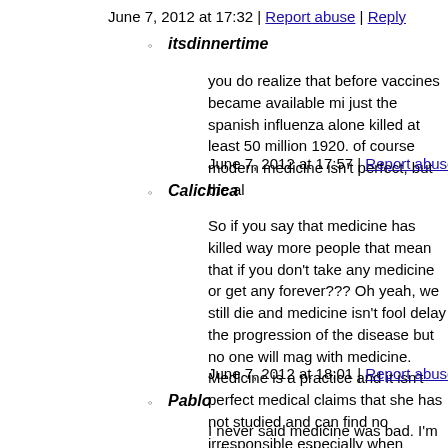June 7, 2012 at 17:32 | Report abuse | Reply
itsdinnertime
you do realize that before vaccines became available mi just the spanish influenza alone killed at least 50 million 1920. of course modern medicine isn't perfect, but the al
June 7, 2012 at 17:57 | Report abuse |
Calichica
So if you say that medicine has killed way more people that mean that if you don't take any medicine or get any forever??? Oh yeah, we still die and medicine isn't fool delay the progression of the disease but no one will mag with medicine. Medicine is a practice and it isn't perfect medical claims that she has not studied and can find no irresponsible especially when children are becoming sic preventable.
June 7, 2012 at 18:01 | Report abuse |
Pablo
I never said medicine was bad. I'm talking purely about Doctors, pharmaceutical companies, and celebrities are misinformation. Medicine has done wonderful things for